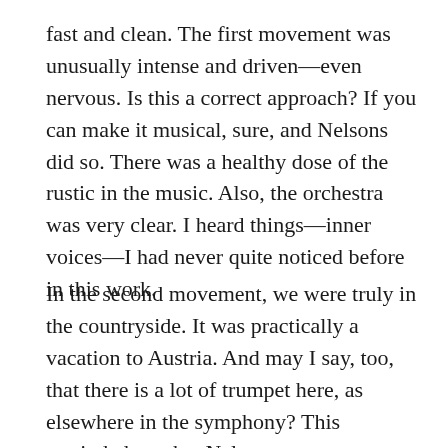fast and clean. The first movement was unusually intense and driven—even nervous. Is this a correct approach? If you can make it musical, sure, and Nelsons did so. There was a healthy dose of the rustic in the music. Also, the orchestra was very clear. I heard things—inner voices—I had never quite noticed before in this work.
In the second movement, we were truly in the countryside. It was practically a vacation to Austria. And may I say, too, that there is a lot of trumpet here, as elsewhere in the symphony? This reminded me that Nelsons